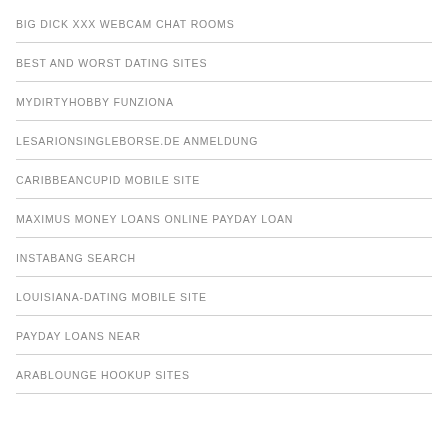BIG DICK XXX WEBCAM CHAT ROOMS
BEST AND WORST DATING SITES
MYDIRTYHOBBY FUNZIONA
LESARIONSINGLEBORSE.DE ANMELDUNG
CARIBBEANCUPID MOBILE SITE
MAXIMUS MONEY LOANS ONLINE PAYDAY LOAN
INSTABANG SEARCH
LOUISIANA-DATING MOBILE SITE
PAYDAY LOANS NEAR
ARABLOUNGE HOOKUP SITES